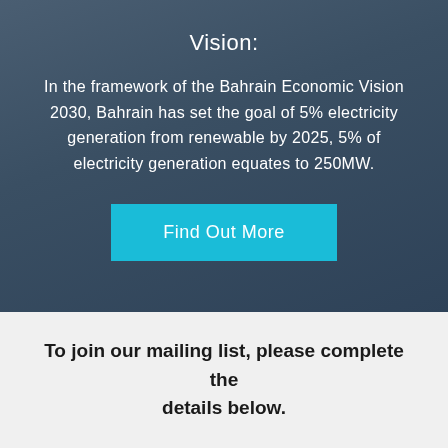Vision:
In the framework of the Bahrain Economic Vision 2030, Bahrain has set the goal of 5% electricity generation from renewable by 2025, 5% of electricity generation equates to 250MW.
Find Out More
To join our mailing list, please complete the details below.